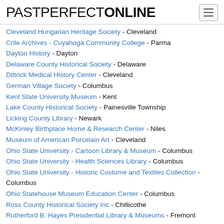PASTPERFECTONLINE
Cleveland Hungarian Heritage Society - Cleveland
Crile Archives - Cuyahoga Community College - Parma
Dayton History - Dayton
Delaware County Historical Society - Delaware
Dittrick Medical History Center - Cleveland
German Village Society - Columbus
Kent State University Museum - Kent
Lake County Historical Society - Painesville Township
Licking County Library - Newark
McKinley Birthplace Home & Research Center - Niles
Museum of American Porcelain Art - Cleveland
Ohio State University - Cartoon Library & Museum - Columbus
Ohio State University - Health Sciences Library - Columbus
Ohio State University - Historic Costume and Textiles Collection - Columbus
Ohio Statehouse Museum Education Center - Columbus
Ross County Historical Society Inc - Chillicothe
Rutherford B. Hayes Presidential Library & Museums - Fremont
Oklahoma